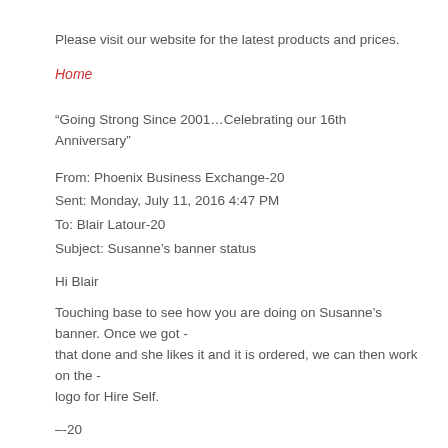Please visit our website for the latest products and prices.
Home
“Going Strong Since 2001…Celebrating our 16th Anniversary”
From: Phoenix Business Exchange-20
Sent: Monday, July 11, 2016 4:47 PM
To: Blair Latour-20
Subject: Susanne’s banner status
Hi Blair
Touching base to see how you are doing on Susanne’s banner. Once we got - that done and she likes it and it is ordered, we can then work on the - logo for Hire Self.
--20